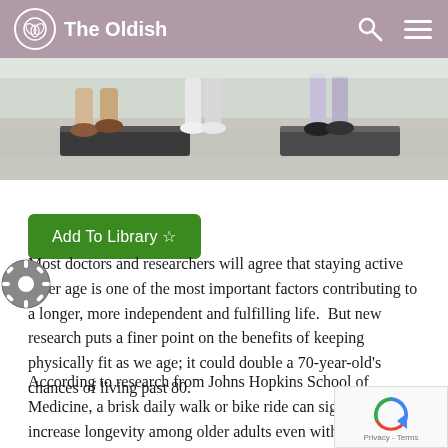The Oldish
[Figure (photo): Close-up of people's feet and legs doing step aerobics on exercise step platforms in a gym]
Add To Library ☆
Most doctors and researchers will agree that staying active older age is one of the most important factors contributing to a longer, more independent and fulfilling life.  But new research puts a finer point on the benefits of keeping physically fit as we age; it could double a 70-year-old's chances of living past 80.
According to research from Johns Hopkins School of Medicine, a brisk daily walk or bike ride can significantly increase longevity among older adults even with other risk factors for a shortened life span such as heart disease, blood pressure, high cholesterol, diabetes or smoking.  The large scale study tracked more than 6,500 participants over